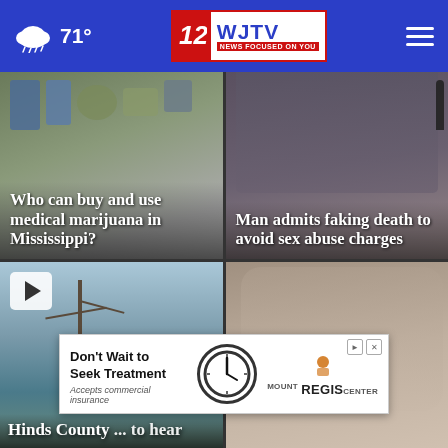WJTV 12 News — 71° weather — navigation bar
[Figure (screenshot): News article thumbnail: Who can buy and use medical marijuana in Mississippi?]
[Figure (screenshot): News article thumbnail: Man admits faking death to avoid sex abuse charges]
[Figure (screenshot): News video thumbnail with play button: Hinds County ... to hear]
[Figure (screenshot): News article thumbnail: close-up of man with glasses]
[Figure (screenshot): Advertisement: Don't Wait to Seek Treatment — Mount Regis Center]